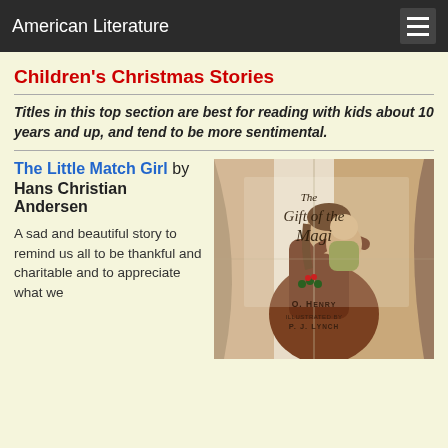American Literature
Children's Christmas Stories
Titles in this top section are best for reading with kids about 10 years and up, and tend to be more sentimental.
The Little Match Girl by Hans Christian Andersen
A sad and beautiful story to remind us all to be thankful and charitable and to appreciate what we
[Figure (illustration): Book cover of 'The Gift of the Magi' illustrated by P.J. Lynch. Shows a woman in a red dress holding a child near a window. Title in script lettering, author O. Henry, illustrated by P.J. Lynch.]